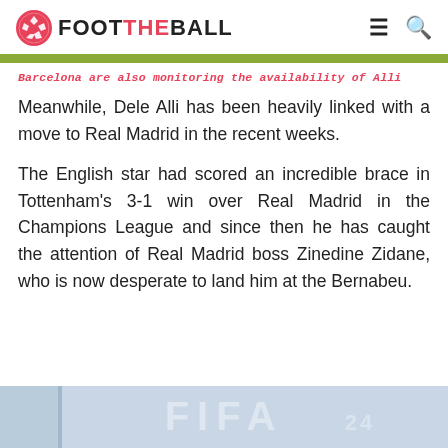FOOT THE BALL
Barcelona are also monitoring the availability of Alli
Meanwhile, Dele Alli has been heavily linked with a move to Real Madrid in the recent weeks.
The English star had scored an incredible brace in Tottenham's 3-1 win over Real Madrid in the Champions League and since then he has caught the attention of Real Madrid boss Zinedine Zidane, who is now desperate to land him at the Bernabeu.
[Figure (photo): Partial view of a FIFA branded image at the bottom of the page]